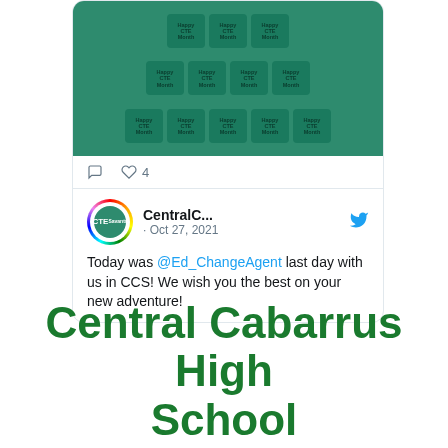[Figure (screenshot): Twitter/social media screenshot showing a tweet card. Top portion shows a photo of green tote bags stacked in a pyramid pattern with 'Happy CTE Month' text printed on them. Below the photo are action icons (comment and heart with 4 likes). A second tweet from CentralC... dated Oct 27, 2021 shows a CTE logo avatar and text reading 'Today was @Ed_ChangeAgent last day with us in CCS! We wish you the best on your new adventure!']
Central Cabarrus High School